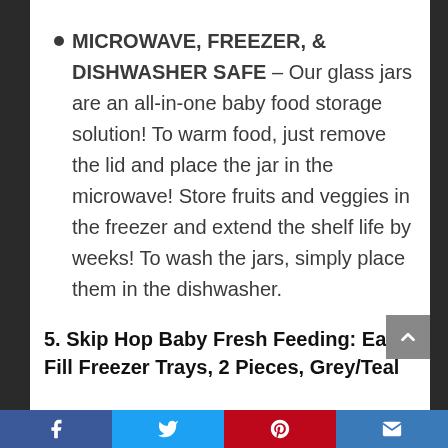MICROWAVE, FREEZER, & DISHWASHER SAFE – Our glass jars are an all-in-one baby food storage solution! To warm food, just remove the lid and place the jar in the microwave! Store fruits and veggies in the freezer and extend the shelf life by weeks! To wash the jars, simply place them in the dishwasher.
5. Skip Hop Baby Fresh Feeding: Easy-Fill Freezer Trays, 2 Pieces, Grey/Teal